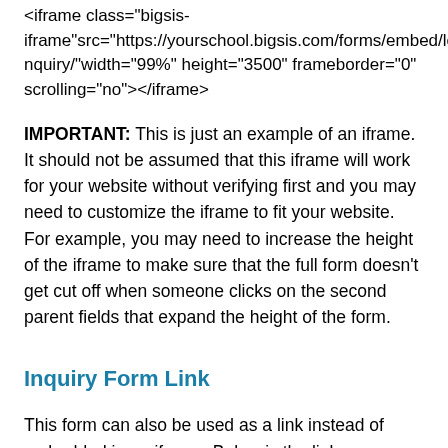<iframe class="bigsis-iframe"src="https://yourschool.bigsis.com/forms/embed/leadinquiry/"width="99%" height="3500" frameborder="0" scrolling="no"></iframe>
IMPORTANT: This is just an example of an iframe. It should not be assumed that this iframe will work for your website without verifying first and you may need to customize the iframe to fit your website. For example, you may need to increase the height of the iframe to make sure that the full form doesn't get cut off when someone clicks on the second parent fields that expand the height of the form.
Inquiry Form Link
This form can also be used as a link instead of embedded in an iframe. Below is the link you can use for your inquiry form. For example, you may use this if you were in email